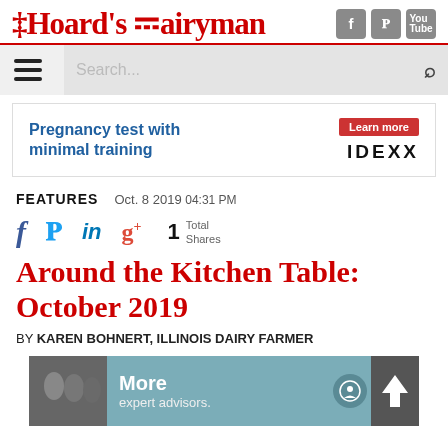Hoard's Dairyman
[Figure (screenshot): Navigation bar with hamburger menu and search field]
[Figure (screenshot): Advertisement banner: Pregnancy test with minimal training - IDEXX Learn more]
FEATURES   Oct. 8 2019 04:31 PM
[Figure (infographic): Social share icons: f (Facebook), bird (Twitter), in (LinkedIn), g+ (Google+), 1 Total Shares]
Around the Kitchen Table: October 2019
BY KAREN BOHNERT, ILLINOIS DAIRY FARMER
[Figure (screenshot): Advertisement banner: More expert advisors.]